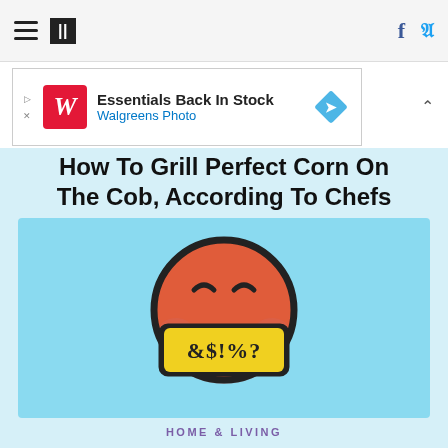HuffPost navigation with hamburger menu, logo, Facebook and Twitter icons
[Figure (other): Walgreens Photo advertisement banner: Essentials Back In Stock]
How To Grill Perfect Corn On The Cob, According To Chefs
[Figure (illustration): Cartoon angry emoji face with dark outline, orange/red color, squinting eyes, pink cheeks, holding a yellow sign with &$!%? text]
HOME & LIVING
The Rudest Things You Can Do In Group Chats